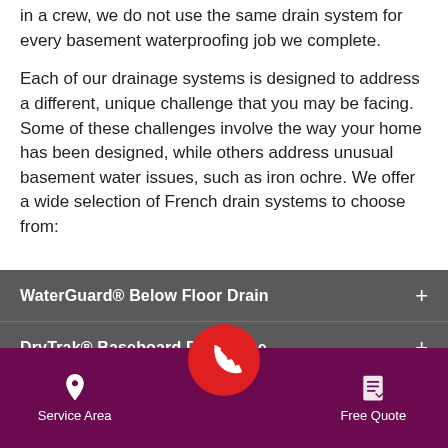in a crew, we do not use the same drain system for every basement waterproofing job we complete.
Each of our drainage systems is designed to address a different, unique challenge that you may be facing. Some of these challenges involve the way your home has been designed, while others address unusual basement water issues, such as iron ochre. We offer a wide selection of French drain systems to choose from:
WaterGuard® Below Floor Drain
DryTrak® Baseboard Drain Pipe
Service Area | [phone] | Free Quote